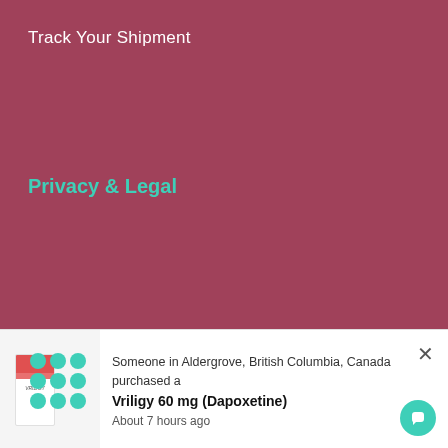Track Your Shipment
Privacy & Legal
Privacy Policy
Terms Conditions
Cancellation Policy
Refunds & Returns Policy
Guarantee
Someone in Aldergrove, British Columbia, Canada purchased a Vriligy 60 mg (Dapoxetine) About 7 hours ago